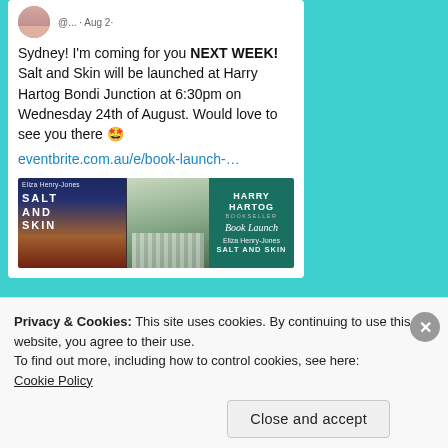[Figure (screenshot): Social media post screenshot on teal background. Post text reads: Sydney! I'm coming for you NEXT WEEK! Salt and Skin will be launched at Harry Hartog Bondi Junction at 6:30pm on Wednesday 24th of August. Would love to see you there 🤩 eventbrite.com.au/e/book-launch-... Below the text is a book launch promotional image showing the Salt and Skin book cover, a photo of the author, and Harry Hartog Bookseller branding with 'Book Launch' script and 'Eliza Henry-Jones SALT AND SKIN' text.]
Privacy & Cookies: This site uses cookies. By continuing to use this website, you agree to their use.
To find out more, including how to control cookies, see here: Cookie Policy
Close and accept